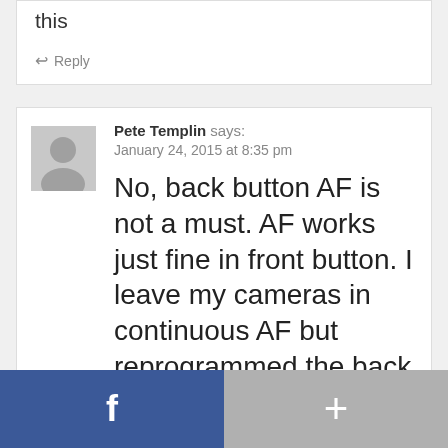this
Reply
[Figure (illustration): User avatar placeholder - grey silhouette icon]
Pete Templin says:
January 24, 2015 at 8:35 pm
No, back button AF is not a must. AF works just fine in front button. I leave my cameras in continuous AF but reprogrammed the back button to AF-OFF (aka Focus Lock). Ta-da! Now focus and
[Figure (screenshot): Bottom social share bar with Facebook (blue, f icon) on left and plus button (grey) on right]